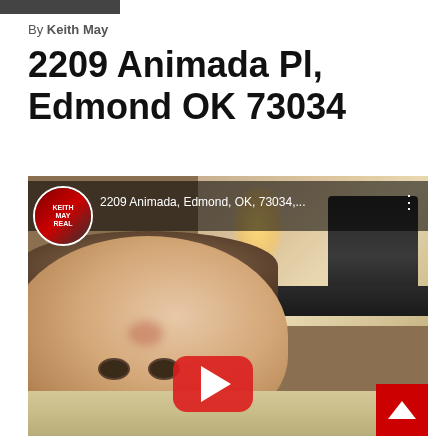By Keith May
2209 Animada Pl, Edmond OK 73034
[Figure (screenshot): YouTube video thumbnail/player showing a man's face close-up in a kitchen setting with channel icon and title '2209 Animada, Edmond, OK, 73034,...' with a red YouTube play button overlay]